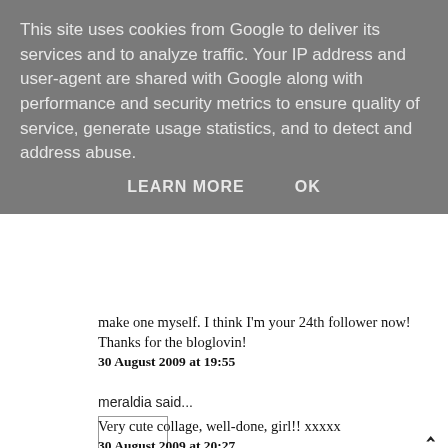This site uses cookies from Google to deliver its services and to analyze traffic. Your IP address and user-agent are shared with Google along with performance and security metrics to ensure quality of service, generate usage statistics, and to detect and address abuse.
LEARN MORE   OK
make one myself. I think I'm your 24th follower now! Thanks for the bloglovin!
30 August 2009 at 19:55
meraldia said...
Very cute collage, well-done, girl!! xxxxx
30 August 2009 at 20:27
Anonymous said...
love this collage...super cute

-cma
check out my blog @ cosmicaroline.blogspot.com
30 August 2009 at 20:54
Anonymous said...